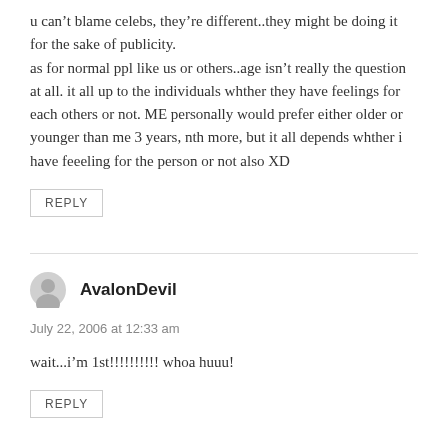u can't blame celebs, they're different..they might be doing it for the sake of publicity.
as for normal ppl like us or others..age isn't really the question at all. it all up to the individuals whther they have feelings for each others or not. ME personally would prefer either older or younger than me 3 years, nth more, but it all depends whther i have feeeling for the person or not also XD
REPLY
AvalonDevil
July 22, 2006 at 12:33 am
wait...i'm 1st!!!!!!!!!! whoa huuu!
REPLY